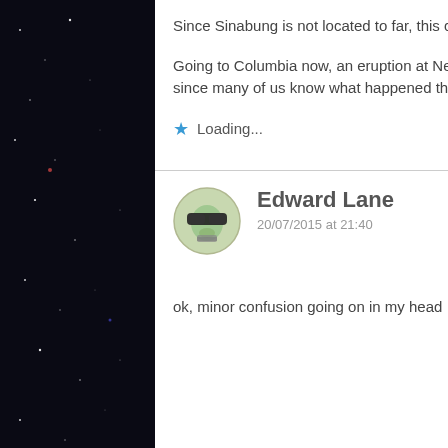Since Sinabung is not located to far, this current eruption is getting scarier by the day in my opinion.
Going to Columbia now, an eruption at Nevada del Ruiz is on the way? I would imagine that she is monitored since many of us know what happened there last time.
Loading...
Edward Lane
20/07/2015 at 21:40
ok, minor confusion going on in my head